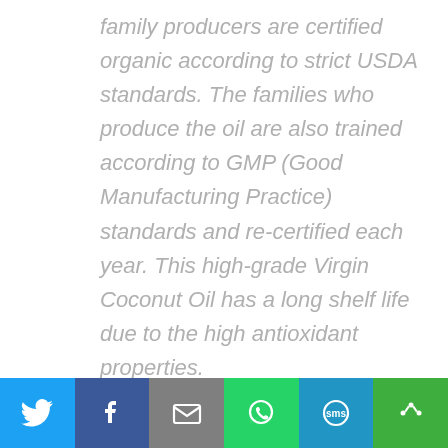family producers are certified organic according to strict USDA standards. The families who produce the oil are also trained according to GMP (Good Manufacturing Practice) standards and re-certified each year. This high-grade Virgin Coconut Oil has a long shelf life due to the high antioxidant properties.
The favorite way my girls use the oil is as a hair conditioner. Meg has really thick hair that tends to “grow” throughout the day as the humidity climbs. She loves that her hair stays soft and silky for several
[Figure (infographic): Social sharing bar with buttons for Twitter, Facebook, Email, WhatsApp, SMS, and More (share icon). Each button has a distinct background color and a white icon.]